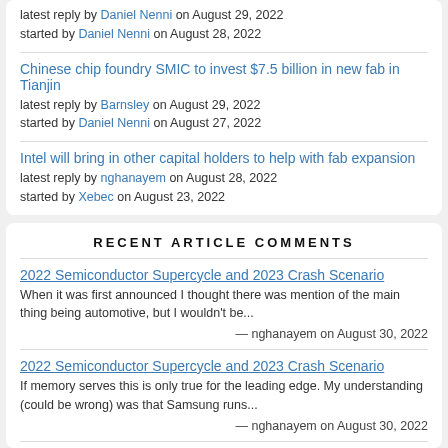latest reply by Daniel Nenni on August 29, 2022
started by Daniel Nenni on August 28, 2022
Chinese chip foundry SMIC to invest $7.5 billion in new fab in Tianjin
latest reply by Barnsley on August 29, 2022
started by Daniel Nenni on August 27, 2022
Intel will bring in other capital holders to help with fab expansion
latest reply by nghanayem on August 28, 2022
started by Xebec on August 23, 2022
RECENT ARTICLE COMMENTS
2022 Semiconductor Supercycle and 2023 Crash Scenario
When it was first announced I thought there was mention of the main thing being automotive, but I wouldn't be...
— nghanayem on August 30, 2022
2022 Semiconductor Supercycle and 2023 Crash Scenario
If memory serves this is only true for the leading edge. My understanding (could be wrong) was that Samsung runs...
— nghanayem on August 30, 2022